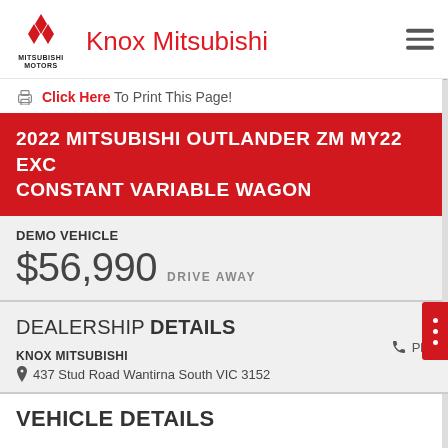Knox Mitsubishi
Click Here To Print This Page!
2022 MITSUBISHI OUTLANDER ZM MY22 EXC CONSTANT VARIABLE WAGON
DEMO VEHICLE
$56,990 DRIVE AWAY
DEALERSHIP DETAILS
KNOX MITSUBISHI
437 Stud Road Wantirna South VIC 3152
Phon
VEHICLE DETAILS